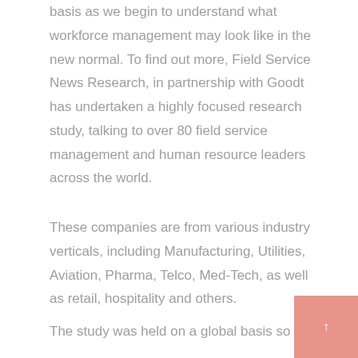basis as we begin to understand what workforce management may look like in the new normal. To find out more, Field Service News Research, in partnership with Goodt has undertaken a highly focused research study, talking to over 80 field service management and human resource leaders across the world.
These companies are from various industry verticals, including Manufacturing, Utilities, Aviation, Pharma, Telco, Med-Tech, as well as retail, hospitality and others.
The study was held on a global basis so